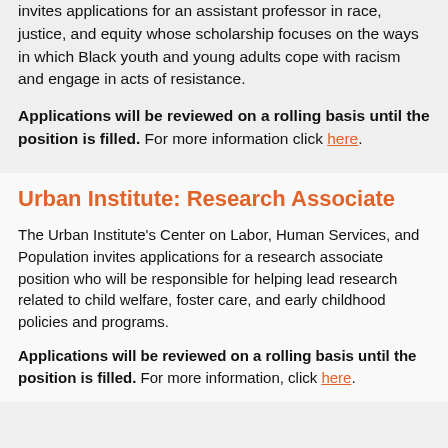invites applications for an assistant professor in race, justice, and equity whose scholarship focuses on the ways in which Black youth and young adults cope with racism and engage in acts of resistance.
Applications will be reviewed on a rolling basis until the position is filled. For more information click here.
Urban Institute: Research Associate
The Urban Institute's Center on Labor, Human Services, and Population invites applications for a research associate position who will be responsible for helping lead research related to child welfare, foster care, and early childhood policies and programs.
Applications will be reviewed on a rolling basis until the position is filled. For more information, click here.